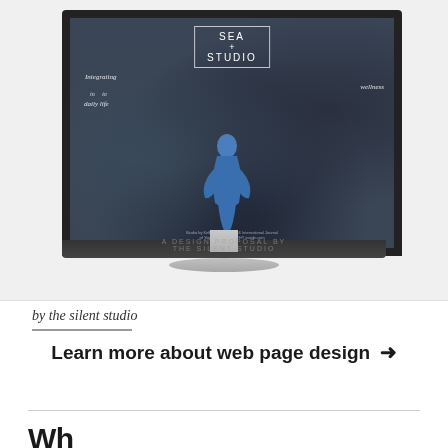[Figure (screenshot): Screenshot of a website design mockup displayed on an iMac-style monitor. The screen shows 'SEA + STUDIO' branding with text 'Integrating wellness in to daily life' over a dark rocky background with a figure in a blue swimsuit. Below the monitor image is watermark text 'A DESIGN PROPOSAL BY THE SILENT STUDIO'.]
by the silent studio
Learn more about web page design →
Wh...